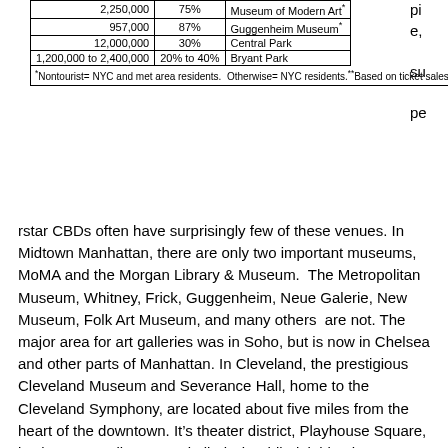|  |  |  |
| --- | --- | --- |
| 2,250,000 | 75% | Museum of Modern Art* |
| 957,000 | 87% | Guggenheim Museum* |
| 12,000,000 | 30% | Central Park |
| 1,200,000 to 2,400,000 | 20% to 40% | Bryant Park |
rstar CBDs often have surprisingly few of these venues. In Midtown Manhattan, there are only two important museums, MoMA and the Morgan Library & Museum.  The Metropolitan Museum, Whitney, Frick, Guggenheim, Neue Galerie, New Museum, Folk Art Museum, and many others  are not. The major area for art galleries was in Soho, but is now in Chelsea and other parts of Manhattan. In Cleveland, the prestigious Cleveland Museum and Severance Hall, home to the Cleveland Symphony, are located about five miles from the heart of the downtown. It’s theater district, Playhouse Square, is about one mile away. Similarly, in Philadelphia, the Museum of Art, the Barnes and the Rodin